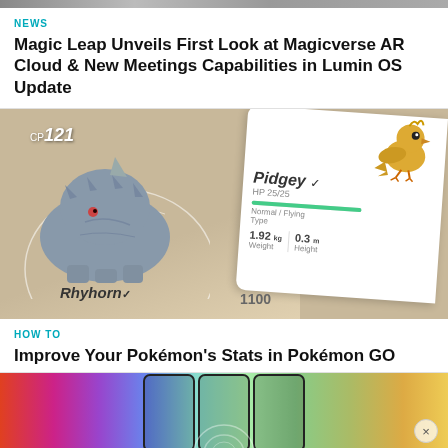[Figure (photo): Top banner image of article about Magic Leap - partial, mostly cropped]
NEWS
Magic Leap Unveils First Look at Magicverse AR Cloud & New Meetings Capabilities in Lumin OS Update
[Figure (photo): Pokémon GO screenshot showing Rhyhorn with CP121 on left and Pidgey card (HP 25/25, Normal/Flying type, 1.92kg weight, 0.3m height) on right]
HOW TO
Improve Your Pokémon's Stats in Pokémon GO
[Figure (photo): Bottom advertisement banner with colorful gradient and phone outlines, with close button (×)]